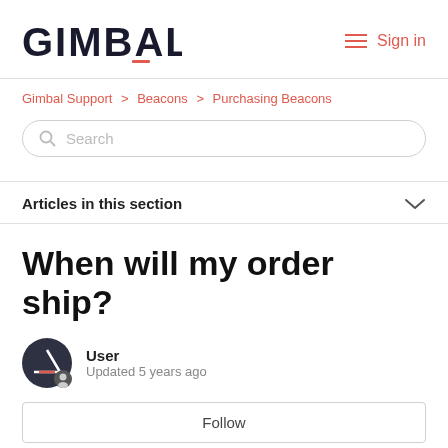GIMBAL — Sign in
Gimbal Support > Beacons > Purchasing Beacons
Search
Articles in this section
When will my order ship?
User
Updated 5 years ago
Follow